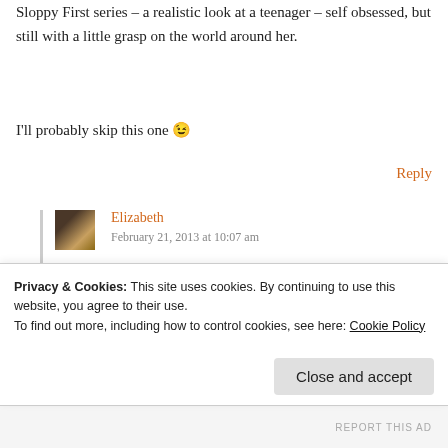Sloppy First series – a realistic look at a teenager – self obsessed, but still with a little grasp on the world around her.
I'll probably skip this one 😉
Reply
Elizabeth
February 21, 2013 at 10:07 am
This reminded me a lot of some of the chick lit books I read in the early 2000s... Bridget Jones
Privacy & Cookies: This site uses cookies. By continuing to use this website, you agree to their use. To find out more, including how to control cookies, see here: Cookie Policy
Close and accept
REPORT THIS AD